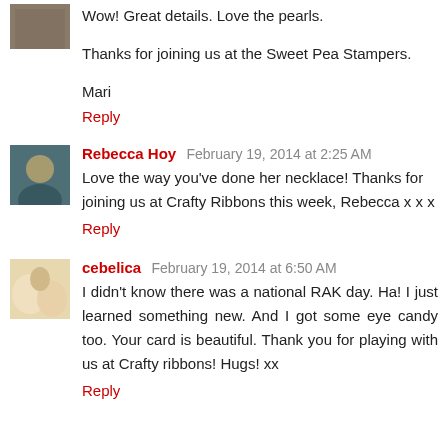Wow! Great details. Love the pearls.
Thanks for joining us at the Sweet Pea Stampers.
Mari
Reply
Rebecca Hoy  February 19, 2014 at 2:25 AM
Love the way you've done her necklace! Thanks for joining us at Crafty Ribbons this week, Rebecca x x x
Reply
cebelica  February 19, 2014 at 6:50 AM
I didn't know there was a national RAK day. Ha! I just learned something new. And I got some eye candy too. Your card is beautiful. Thank you for playing with us at Crafty ribbons! Hugs! xx
Reply